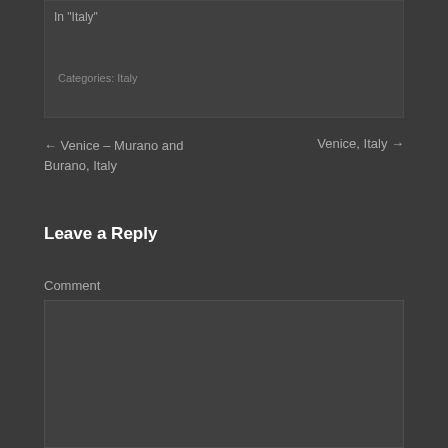In "Italy"
Categories: Italy
← Venice – Murano and Burano, Italy
Venice, Italy →
Leave a Reply
Comment